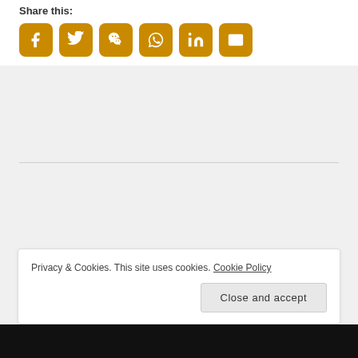Share this:
[Figure (infographic): Row of 6 orange rounded-square social media share icons: Facebook, Twitter, WeChat, WhatsApp, LinkedIn, Email]
Privacy & Cookies. This site uses cookies. Cookie Policy
Close and accept